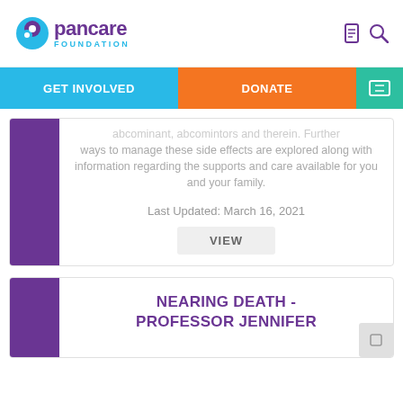pancare FOUNDATION
GET INVOLVED | DONATE
ways to manage these side effects are explored along with information regarding the supports and care available for you and your family.
Last Updated: March 16, 2021
VIEW
NEARING DEATH - PROFESSOR JENNIFER